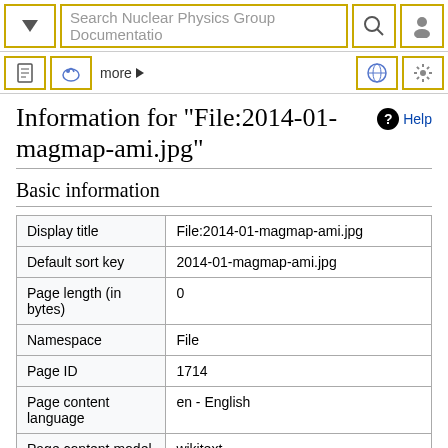Search Nuclear Physics Group Documentation
Information for "File:2014-01-magmap-ami.jpg"
Basic information
|  |  |
| --- | --- |
| Display title | File:2014-01-magmap-ami.jpg |
| Default sort key | 2014-01-magmap-ami.jpg |
| Page length (in bytes) | 0 |
| Namespace | File |
| Page ID | 1714 |
| Page content language | en - English |
| Page content model | wikitext |
| Indexing by robots | Allowed |
| Number of redirects to | 0 |